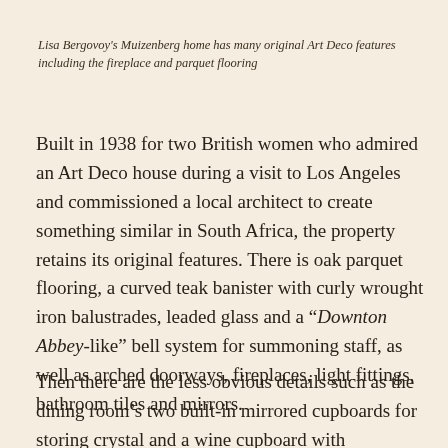Lisa Bergovoy's Muizenberg home has many original Art Deco features including the fireplace and parquet flooring
Built in 1938 for two British women who admired an Art Deco house during a visit to Los Angeles and commissioned a local architect to create something similar in South Africa, the property retains its original features. There is oak parquet flooring, a curved teak banister with curly wrought iron balustrades, leaded glass and a “Downton Abbey-like” bell system for summoning staff, as well as arched doorways, fireplaces, light fittings, bathroom tiles and mirrors.
Then there are the less obvious details such as the dining room’s two built-in mirrored cupboards for storing crystal and a wine cupboard with downward-slanting shelves for